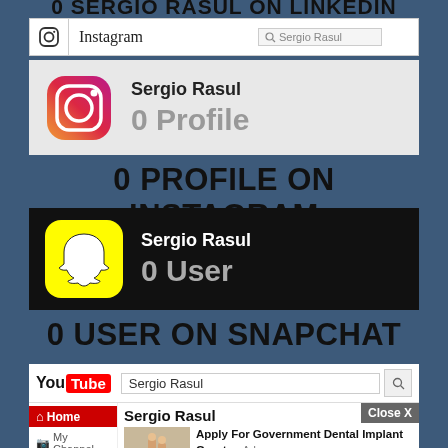[Figure (screenshot): Cropped top of page showing partial text '0 SERGIO RASUL ON LINKEDIN' heading]
[Figure (screenshot): Instagram search bar screenshot showing search for Sergio Rasul]
[Figure (screenshot): Instagram result showing Sergio Rasul with 0 Profile result]
0 PROFILE ON INSTAGRAM
[Figure (screenshot): Snapchat dark background result showing Sergio Rasul with 0 User]
0 USER ON SNAPCHAT
[Figure (screenshot): YouTube search result for Sergio Rasul showing name, Close X button, and dental implant ad]